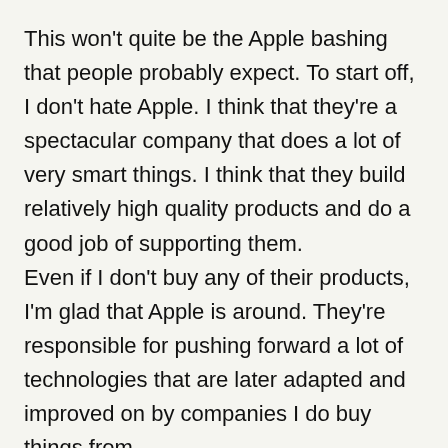This won't quite be the Apple bashing that people probably expect. To start off, I don't hate Apple. I think that they're a spectacular company that does a lot of very smart things. I think that they build relatively high quality products and do a good job of supporting them.
Even if I don't buy any of their products, I'm glad that Apple is around. They're responsible for pushing forward a lot of technologies that are later adapted and improved on by companies I do buy things from.